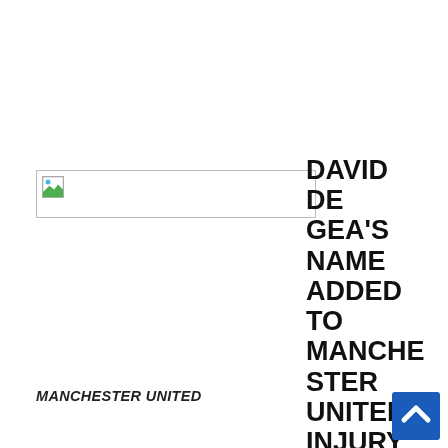[Figure (photo): Broken/unloaded image placeholder with small icon in top-left corner, representing a photo of Manchester United]
MANCHESTER UNITED
DAVID DE GEA'S NAME ADDED TO MANCHESTER UNITED'S INJURY TEAM LIST.
As the next fixture of English Premiership match between Manchester United at home to Liverpool approaches, despite the number of injured players in Manchester United this term